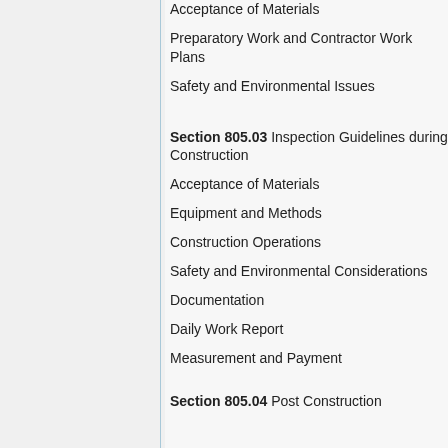Acceptance of Materials
Preparatory Work and Contractor Work Plans
Safety and Environmental Issues
Section 805.03 Inspection Guidelines during Construction
Acceptance of Materials
Equipment and Methods
Construction Operations
Safety and Environmental Considerations
Documentation
Daily Work Report
Measurement and Payment
Section 805.04 Post Construction